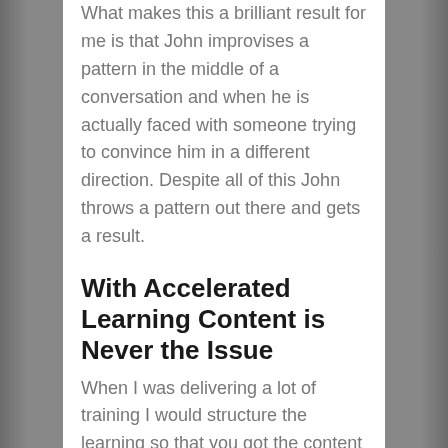What makes this a brilliant result for me is that John improvises a pattern in the middle of a conversation and when he is actually faced with someone trying to convince him in a different direction. Despite all of this John throws a pattern out there and gets a result.
With Accelerated Learning Content is Never the Issue
When I was delivering a lot of training I would structure the learning so that you got the content in several different directions. If we were taking about language I would make sure that you were